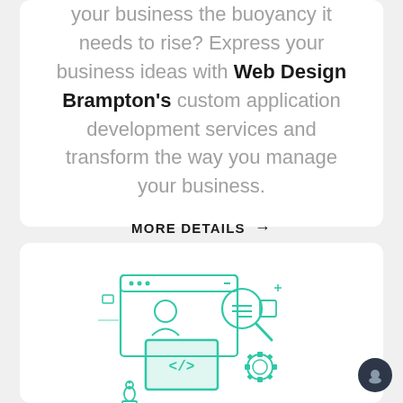your business the buoyancy it needs to rise? Express your business ideas with Web Design Brampton's custom application development services and transform the way you manage your business.
MORE DETAILS →
[Figure (illustration): Green outline illustration showing a web browser window with a person figure and magnifying glass, a code editor with </> tags, gear/cog shapes, and a chess piece (bishop), representing web development and SEO services.]